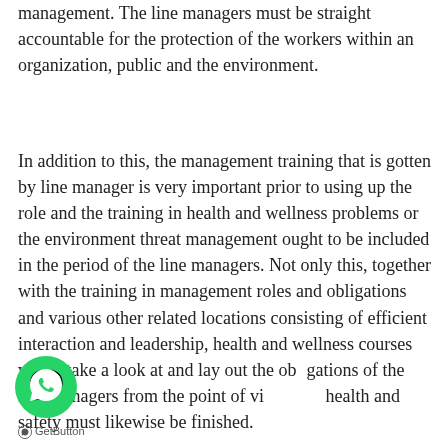management. The line managers must be straight accountable for the protection of the workers within an organization, public and the environment.
In addition to this, the management training that is gotten by line manager is very important prior to using up the role and the training in health and wellness problems or the environment threat management ought to be included in the period of the line managers. Not only this, together with the training in management roles and obligations and various other related locations consisting of efficient interaction and leadership, health and wellness courses which take a look at and lay out the obligations of the line managers from the point of view of health and safety must likewise be finished.
GetButton